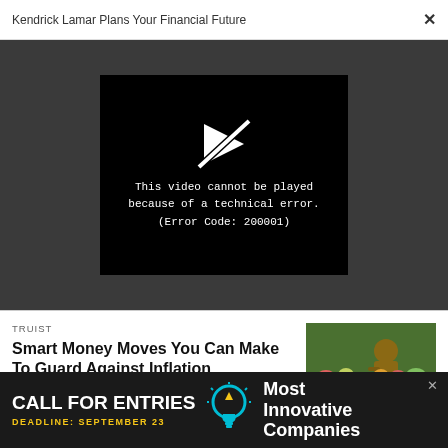Kendrick Lamar Plans Your Financial Future  ×
[Figure (screenshot): Black video player box with broken/struck-through play icon and error message: 'This video cannot be played because of a technical error. (Error Code: 200001)' on dark grey background]
TRUIST
Smart Money Moves You Can Make To Guard Against Inflation
[Figure (photo): Person in brown jacket bending over colorful flower market stall with green plants]
[Figure (infographic): Dark banner advertisement: CALL FOR ENTRIES DEADLINE: SEPTEMBER 23 with lightbulb icon and text 'Most Innovative Companies']